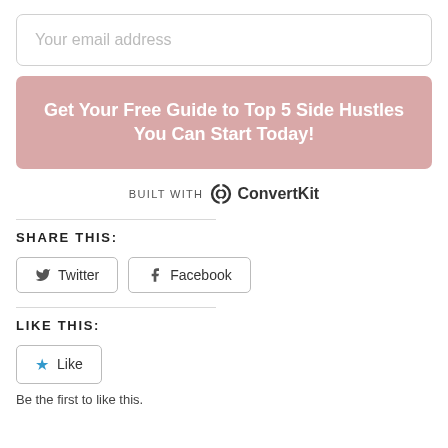Your email address
Get Your Free Guide to Top 5 Side Hustles You Can Start Today!
BUILT WITH ConvertKit
SHARE THIS:
Twitter
Facebook
LIKE THIS:
Like
Be the first to like this.